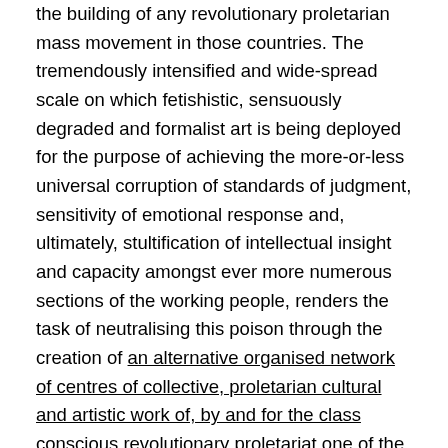the building of any revolutionary proletarian mass movement in those countries. The tremendously intensified and wide-spread scale on which fetishistic, sensuously degraded and formalist art is being deployed for the purpose of achieving the more-or-less universal corruption of standards of judgment, sensitivity of emotional response and, ultimately, stultification of intellectual insight and capacity amongst ever more numerous sections of the working people, renders the task of neutralising this poison through the creation of an alternative organised network of centres of collective, proletarian cultural and artistic work of, by and for the class conscious revolutionary proletariat one of the fundamental prerequisites for the growth of the revolutionary mass movement, the mass base of the socialist revolution, to the necessary level of overwhelming superiority of forces which is indispensable if the vastly